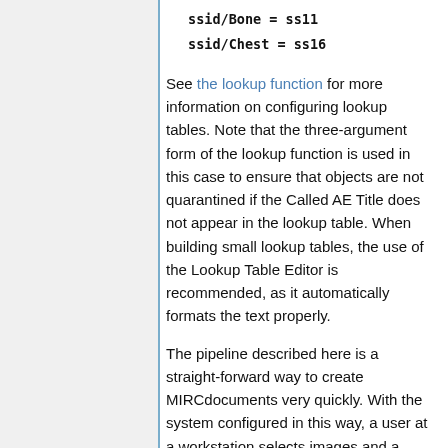ssid/Bone = ss11
ssid/Chest = ss16
See the lookup function for more information on configuring lookup tables. Note that the three-argument form of the lookup function is used in this case to ensure that objects are not quarantined if the Called AE Title does not appear in the lookup table. When building small lookup tables, the use of the Lookup Table Editor is recommended, as it automatically formats the text properly.
The pipeline described here is a straight-forward way to create MIRCdocuments very quickly. With the system configured in this way, a user at a workstation selects images and a library destination, and a MIRCdocument containing the images appears automatically in TES in